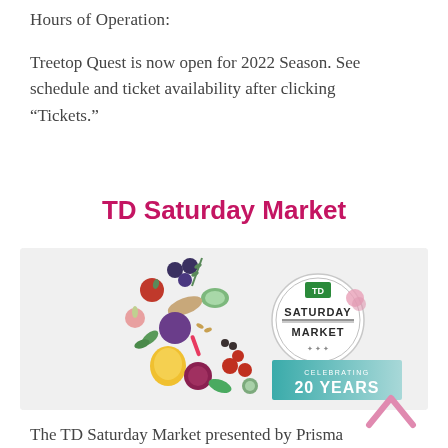Hours of Operation:
Treetop Quest is now open for 2022 Season. See schedule and ticket availability after clicking “Tickets.”
TD Saturday Market
[Figure (illustration): TD Saturday Market banner image showing various fruits and vegetables scattered on a white background, with the Saturday Market circular logo and a teal banner reading 'Celebrating 20 Years']
The TD Saturday Market presented by Prisma Health opens on the first Saturday in May and ends on the last Saturday in October.